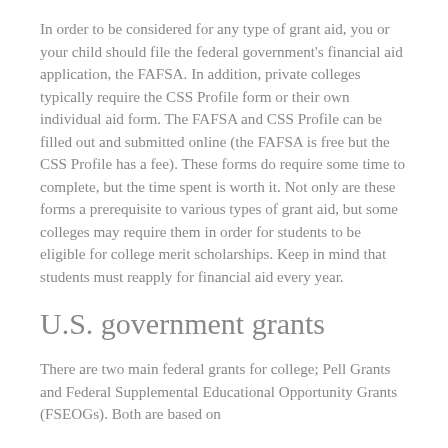In order to be considered for any type of grant aid, you or your child should file the federal government's financial aid application, the FAFSA. In addition, private colleges typically require the CSS Profile form or their own individual aid form. The FAFSA and CSS Profile can be filled out and submitted online (the FAFSA is free but the CSS Profile has a fee). These forms do require some time to complete, but the time spent is worth it. Not only are these forms a prerequisite to various types of grant aid, but some colleges may require them in order for students to be eligible for college merit scholarships. Keep in mind that students must reapply for financial aid every year.
U.S. government grants
There are two main federal grants for college; Pell Grants and Federal Supplemental Educational Opportunity Grants (FSEOGs). Both are based on